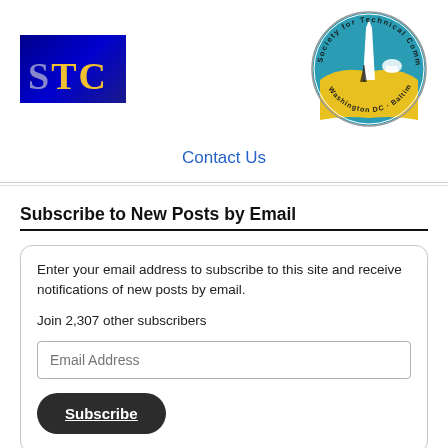[Figure (logo): STC logo: dark blue background with yellow 'STC' text and grey 'S']
[Figure (logo): Society for Technical Communication Washington DC - Baltimore Chapter circular logo with city skyline]
Contact Us
Subscribe to New Posts by Email
Enter your email address to subscribe to this site and receive notifications of new posts by email.
Join 2,307 other subscribers